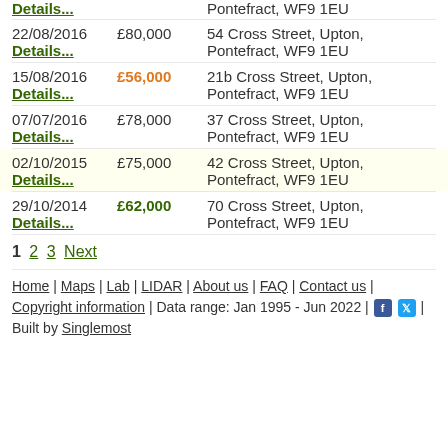Details... | Pontefract, WF9 1EU (partial top row)
22/08/2016 £80,000 54 Cross Street, Upton, Pontefract, WF9 1EU | Details...
15/08/2016 £56,000 21b Cross Street, Upton, Pontefract, WF9 1EU | Details...
07/07/2016 £78,000 37 Cross Street, Upton, Pontefract, WF9 1EU | Details...
02/10/2015 £75,000 42 Cross Street, Upton, Pontefract, WF9 1EU | Details...
29/10/2014 £62,000 70 Cross Street, Upton, Pontefract, WF9 1EU | Details...
1 2 3 Next
Home | Maps | Lab | LIDAR | About us | FAQ | Contact us | Copyright information | Data range: Jan 1995 - Jun 2022 | [fb] [tw] | Built by Singlemost